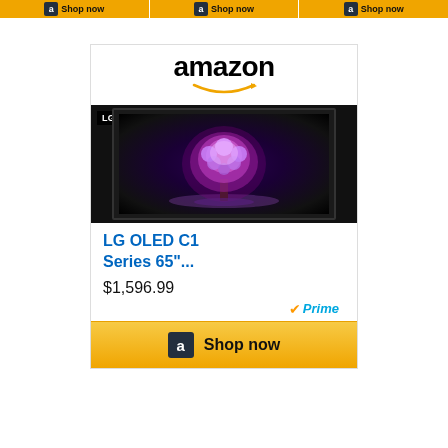[Figure (screenshot): Amazon advertisement banner row with three 'Shop now' buttons and Amazon icon, gold background]
[Figure (screenshot): Amazon product ad widget showing LG OLED C1 Series 65-inch TV for $1,596.99 with Prime badge and Shop now button on gold background]
[Figure (screenshot): Bottom landscape banner advertisement showing blue sky with clouds and partial rooftop, with ad control icons (play and close) in upper right]